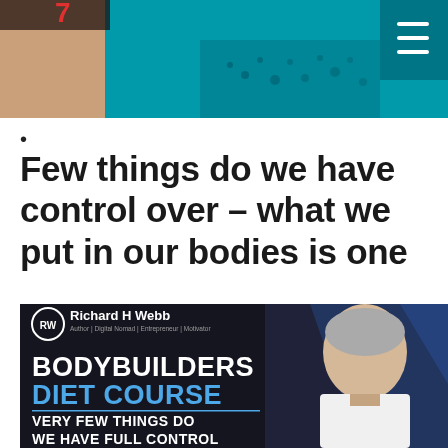[Figure (screenshot): Website header banner with teal/cyan background, partial graphic on left side, and hamburger menu icon in top right corner with darker teal background]
•
Few things do we have control over – what we put in our bodies is one
[Figure (advertisement): Advertisement for Richard H Webb's Bodybuilders Diet Course. Dark background with blue accents, showing a fit middle-aged man with grey hair wearing a white tank top. Text reads: RW Richard H Webb, Author | Digital Nomad | Entrepreneur | Motivator, BODYBUILDERS DIET COURSE, VERY FEW THINGS DO WE HAVE FULL CONTROL]